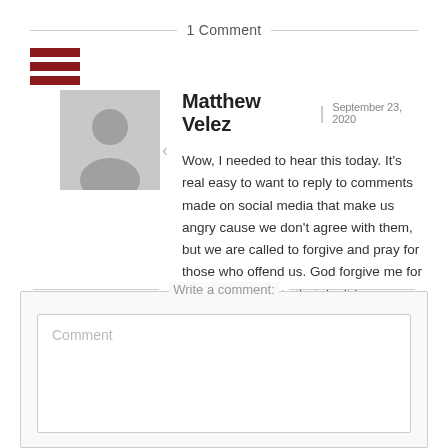1 Comment
Matthew Velez | September 23, 2020
Wow, I needed to hear this today. It's real easy to want to reply to comments made on social media that make us angry cause we don't agree with them, but we are called to forgive and pray for those who offend us. God forgive me for making comments that don't honor you. Thank you Blackaby Ministries for your daily devotionals.
Write a comment:
Comment